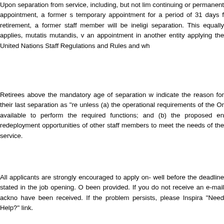Upon separation from service, including, but not limited to continuing or permanent appointment, a former staff member's temporary appointment for a period of 31 days following separation from retirement, a former staff member will be ineligible following separation. This equally applies, mutatis mutandis, with respect to an appointment in another entity applying the United Nations Staff Regulations and Rules and who
Retirees above the mandatory age of separation who indicate the reason for their last separation as "re unless (a) the operational requirements of the Or available to perform the required functions; and (b) the proposed en redeployment opportunities of other staff members to meet the needs of the service.
All applicants are strongly encouraged to apply on- well before the deadline stated in the job opening. O been provided. If you do not receive an e-mail ackno have been received. If the problem persists, please Inspira "Need Help?" link.